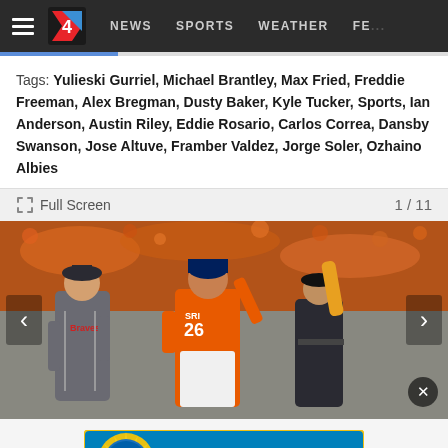NEWS  SPORTS  WEATHER  FE...
Tags: Yulieski Gurriel, Michael Brantley, Max Fried, Freddie Freeman, Alex Bregman, Dusty Baker, Kyle Tucker, Sports, Ian Anderson, Austin Riley, Eddie Rosario, Carlos Correa, Dansby Swanson, Jose Altuve, Framber Valdez, Jorge Soler, Ozhaino Albies
Full Screen  1 / 11
[Figure (photo): Baseball game photo showing a Houston Astros player wearing jersey number 26 celebrating, with an Atlanta Braves pitcher walking away, and an umpire with arm raised, crowd in background wearing orange.]
[Figure (logo): JAX BEST YOU DECIDE! advertisement banner in blue and yellow colors]